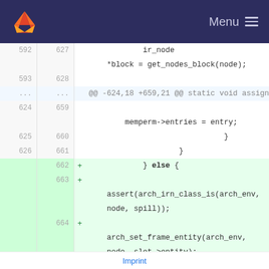GitLab — Menu
[Figure (screenshot): Code diff view showing lines 592-629 (old) and 627-667 (new) with added lines for } else { block, assert(arch_irn_class_is(arch_env, node, spill)); and arch_set_frame_entity(arch_env, node, slot->entity); in a monospace diff viewer]
Imprint